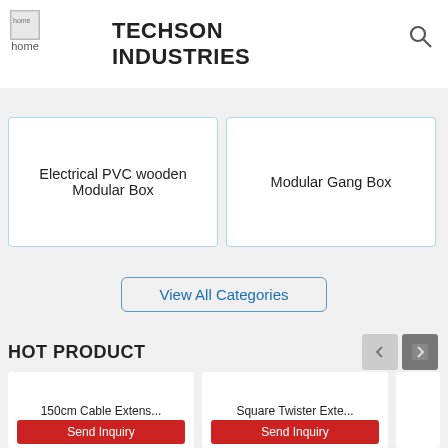TECHSON INDUSTRIES
Electrical PVC wooden Modular Box
Modular Gang Box
View All Categories
HOT PRODUCT
150cm Cable Extens...
Square Twister Exte...